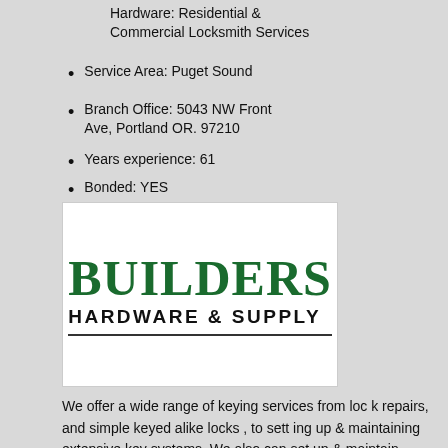Hardware: Residential & Commercial Locksmith Services
Service Area: Puget Sound
Branch Office: 5043 NW Front Ave, Portland OR. 97210
Years experience: 61
Bonded: YES
[Figure (logo): Builders Hardware & Supply company logo with dark green bold serif text for BUILDERS and black sans-serif text for HARDWARE & SUPPLY with a horizontal rule beneath]
We offer a wide range of keying services from loc k repairs, and simple keyed alike locks , to sett ing up & maintaining extensive key systems. We also can set up & maintain high-security systems. Additionally, we stock a wide range of hardware for the home or office including: locks , hinges , door hardware,